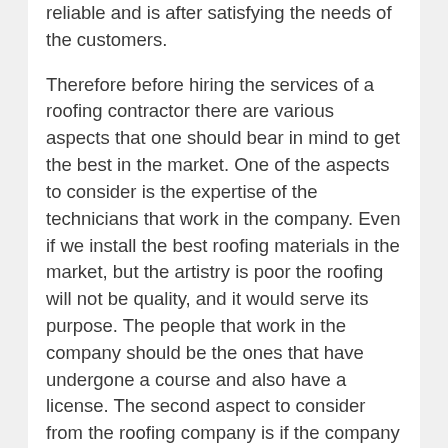reliable and is after satisfying the needs of the customers.
Therefore before hiring the services of a roofing contractor there are various aspects that one should bear in mind to get the best in the market. One of the aspects to consider is the expertise of the technicians that work in the company. Even if we install the best roofing materials in the market, but the artistry is poor the roofing will not be quality, and it would serve its purpose. The people that work in the company should be the ones that have undergone a course and also have a license. The second aspect to consider from the roofing company is if the company offers repair services to clients.
Lastly, the roofing contractor should also be conversant with the modern designs in the market. The roof contributes a lot to the general appearance of the house. we should ensure that our roofs are constructed in unique designs that make our homes outstanding in the whole neighborhood.